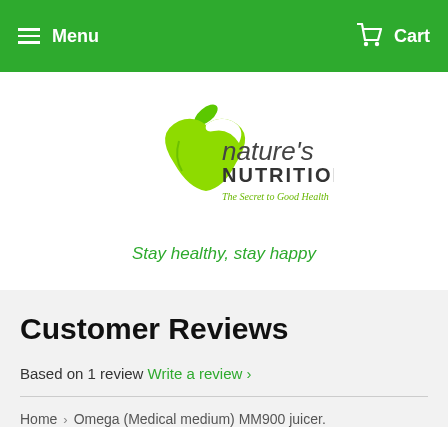Menu   Cart
[Figure (logo): Nature's Nutrition logo — green apple/leaf graphic with text "nature's NUTRITION" and tagline "The Secret to Good Health"]
Stay healthy, stay happy
Customer Reviews
Based on 1 review  Write a review ›
Home  ›  Omega (Medical medium) MM900 juicer.